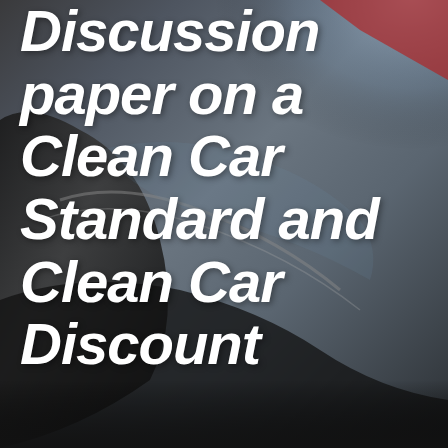[Figure (photo): Close-up photograph of a dark-colored car with reflections of sky and surroundings visible on the car body. The image serves as a background for the document title.]
Discussion paper on a Clean Car Standard and Clean Car Discount